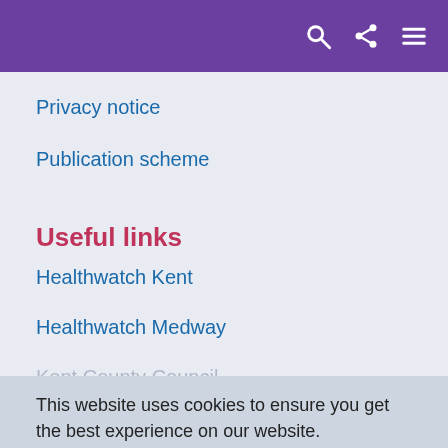Navigation bar with search, share, and menu icons
Privacy notice
Publication scheme
Useful links
Healthwatch Kent
Healthwatch Medway
Kent County Council
This website uses cookies to ensure you get the best experience on our website.
Learn more
Got it!
Show accessibility tools